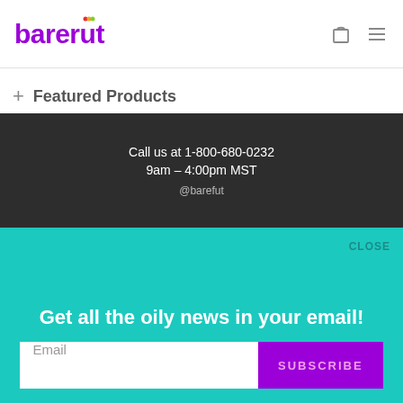barefut
+ Featured Products
[Figure (other): Search input box with magnifying glass icon]
Call us at 1-800-680-0232
9am – 4:00pm MST
@barefut
CLOSE
Get all the oily news in your email!
Email
SUBSCRIBE